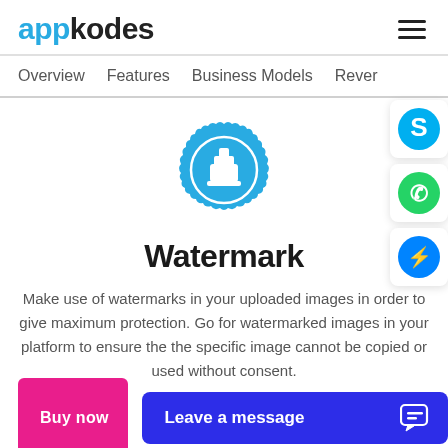appkodes
Overview   Features   Business Models   Rever
[Figure (illustration): Blue badge/seal icon with a white stamp symbol in the center, scalloped border]
Watermark
Make use of watermarks in your uploaded images in order to give maximum protection. Go for watermarked images in your platform to ensure the the specific image cannot be copied or used without consent.
[Figure (logo): Skype blue circle logo icon]
[Figure (logo): WhatsApp green circle logo icon]
[Figure (logo): Facebook Messenger blue circle logo icon]
Buy now
Leave a message